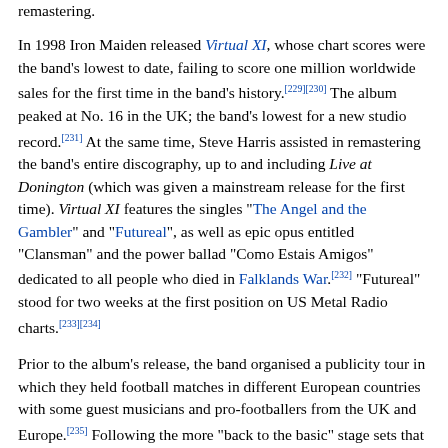remastering.
In 1998 Iron Maiden released Virtual XI, whose chart scores were the band's lowest to date, failing to score one million worldwide sales for the first time in the band's history.[229][230] The album peaked at No. 16 in the UK; the band's lowest for a new studio record.[231] At the same time, Steve Harris assisted in remastering the band's entire discography, up to and including Live at Donington (which was given a mainstream release for the first time). Virtual XI features the singles "The Angel and the Gambler" and "Futureal", as well as epic opus entitled "Clansman" and the power ballad "Como Estais Amigos" dedicated to all people who died in Falklands War.[232] "Futureal" stood for two weeks at the first position on US Metal Radio charts.[233][234]
Prior to the album's release, the band organised a publicity tour in which they held football matches in different European countries with some guest musicians and pro-footballers from the UK and Europe.[235] Following the more "back to the basic" stage sets that they had been using following 1988's Seventh Tour of a Seventh Tour, they returned to a conception of an elaborate stage set.[236] The musicians and management stated Virtual XI World Tour would bring a "massive show, with huge production, including stadium-levelling amounts of pyro". They also announced the contribution of Bruce Dickinson's slide digital drop off set...